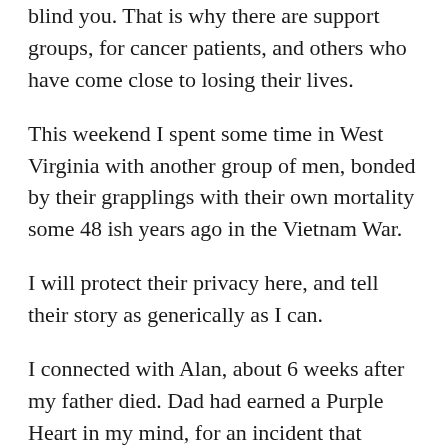blind you.  That is why there are support groups, for cancer patients, and others who have come close to losing their lives.
This weekend I spent some time in West Virginia with another group of men, bonded by their grapplings with their own mortality some 48 ish years ago in the Vietnam War.
I will protect their privacy here, and tell their story as generically as I can.
I connected with Alan, about 6 weeks after my father died.  Dad had earned a Purple Heart in my mind, for an incident that occurred while he was serving in the United States Marine Corps.  The award was never granted, and I wanted to pursue it on his behalf.  So, I sent some letters to Marines, whose contact